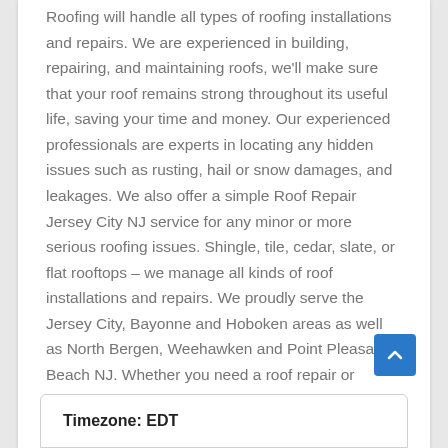Roofing will handle all types of roofing installations and repairs. We are experienced in building, repairing, and maintaining roofs, we'll make sure that your roof remains strong throughout its useful life, saving your time and money. Our experienced professionals are experts in locating any hidden issues such as rusting, hail or snow damages, and leakages. We also offer a simple Roof Repair Jersey City NJ service for any minor or more serious roofing issues. Shingle, tile, cedar, slate, or flat rooftops – we manage all kinds of roof installations and repairs. We proudly serve the Jersey City, Bayonne and Hoboken areas as well as North Bergen, Weehawken and Point Pleasant Beach NJ. Whether you need a roof repair or replacement, we can handle it all!
Timezone: EDT